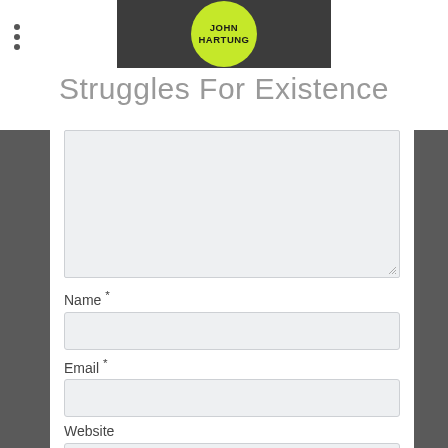[Figure (logo): John Hartung logo: dark grey rectangle with yellow-green circle containing bold text JOHN HARTUNG]
Struggles For Existence
[Figure (screenshot): Web comment form with textarea and fields: Name *, Email *, Website]
Name *
Email *
Website